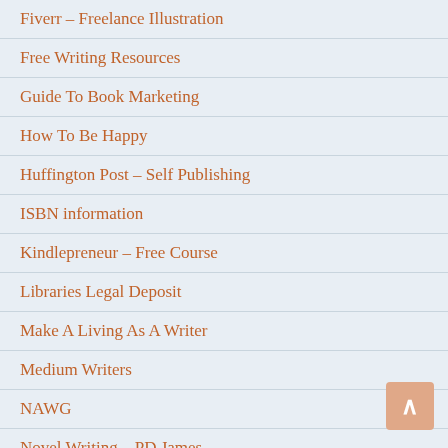Fiverr – Freelance Illustration
Free Writing Resources
Guide To Book Marketing
How To Be Happy
Huffington Post – Self Publishing
ISBN information
Kindlepreneur – Free Course
Libraries Legal Deposit
Make A Living As A Writer
Medium Writers
NAWG
Novel Writing – PD James
Orbis Journal